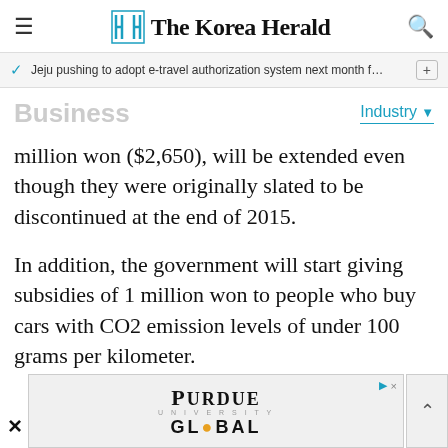The Korea Herald
Jeju pushing to adopt e-travel authorization system next month f…
Business
Industry
million won ($2,650), will be extended even though they were originally slated to be discontinued at the end of 2015.
In addition, the government will start giving subsidies of 1 million won to people who buy cars with CO2 emission levels of under 100 grams per kilometer.
[Figure (other): Purdue University Global advertisement banner]